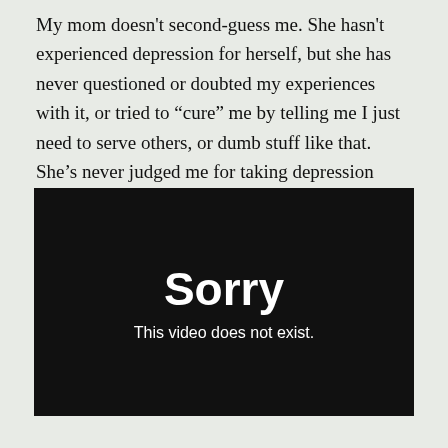My mom doesn't second-guess me. She hasn't experienced depression for herself, but she has never questioned or doubted my experiences with it, or tried to “cure” me by telling me I just need to serve others, or dumb stuff like that. She’s never judged me for taking depression medication, or tried to talk me out of it.
[Figure (screenshot): Black video player placeholder showing 'Sorry' in bold white text and 'This video does not exist.' in smaller white text below.]